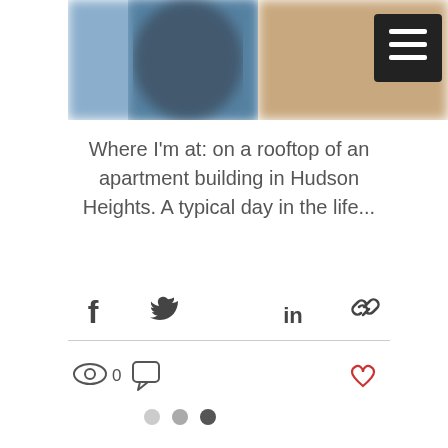[Figure (photo): Blurred rooftop photo with a dark hamburger menu button in the top-right corner]
Where I'm at: on a rooftop of an apartment building in Hudson Heights. A typical day in the life...
[Figure (infographic): Social share icons: Facebook, Twitter, LinkedIn, Link]
[Figure (infographic): Engagement row: eye icon with 0 views, comment icon, and a red heart/like icon on the right]
[Figure (infographic): Pagination dots: light grey, grey, dark grey (active)]